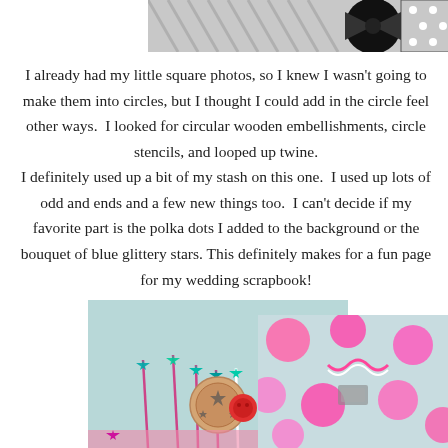[Figure (photo): Black and white photo strip showing a couple at what appears to be a wedding, cropped at top of page]
I already had my little square photos, so I knew I wasn't going to make them into circles, but I thought I could add in the circle feel other ways.  I looked for circular wooden embellishments, circle stencils, and looped up twine. I definitely used up a bit of my stash on this one.  I used up lots of odd and ends and a few new things too.  I can't decide if my favorite part is the polka dots I added to the background or the bouquet of blue glittery stars. This definitely makes for a fun page for my wedding scrapbook!
[Figure (photo): Craft/scrapbook supplies including teal glitter stars on sticks, wooden embellishments with stars, pink candy cane ribbon, and a red round element]
[Figure (photo): Scrapbook supplies with pink polka dots on light blue background, pink ribbon, and craft elements]